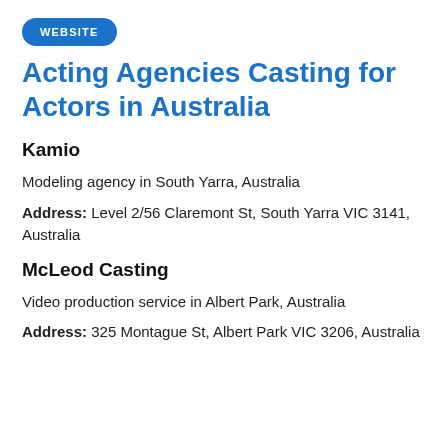WEBSITE
Acting Agencies Casting for Actors in Australia
Kamio
Modeling agency in South Yarra, Australia
Address: Level 2/56 Claremont St, South Yarra VIC 3141, Australia
McLeod Casting
Video production service in Albert Park, Australia
Address: 325 Montague St, Albert Park VIC 3206, Australia